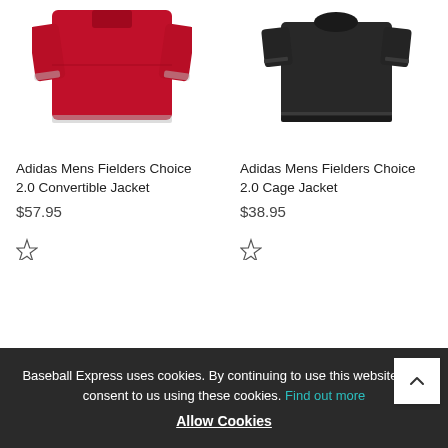[Figure (photo): Red Adidas Mens Fielders Choice 2.0 Convertible Jacket product photo]
Adidas Mens Fielders Choice 2.0 Convertible Jacket
$57.95
[Figure (photo): Dark/black Adidas Mens Fielders Choice 2.0 Cage Jacket product photo]
Adidas Mens Fielders Choice 2.0 Cage Jacket
$38.95
Baseball Express uses cookies. By continuing to use this website, you consent to us using these cookies. Find out more Allow Cookies